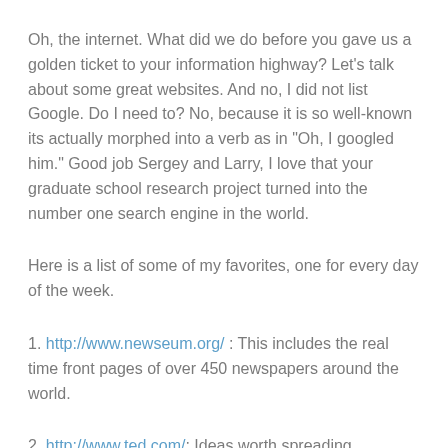Oh, the internet. What did we do before you gave us a golden ticket to your information highway? Let's talk about some great websites. And no, I did not list Google. Do I need to? No, because it is so well-known its actually morphed into a verb as in "Oh, I googled him." Good job Sergey and Larry, I love that your graduate school research project turned into the number one search engine in the world.
Here is a list of some of my favorites, one for every day of the week.
1. http://www.newseum.org/ : This includes the real time front pages of over 450 newspapers around the world.
2. http://www.ted.com/: Ideas worth spreading. Interesting library of live talks by remarkable people from all around the world on topics ranging from science to global issues.